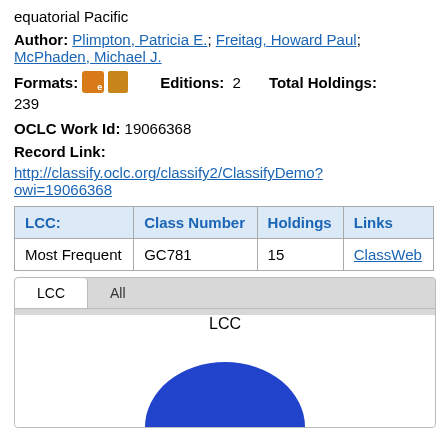equatorial Pacific
Author: Plimpton, Patricia E.; Freitag, Howard Paul; McPhaden, Michael J.
Formats: [ebook icon] [book icon]   Editions: 2   Total Holdings:
239
OCLC Work Id: 19066368
Record Link:
http://classify.oclc.org/classify2/ClassifyDemo?owi=19066368
| LCC: | Class Number | Holdings | Links |
| --- | --- | --- | --- |
| Most Frequent | GC781 | 15 | ClassWeb |
[Figure (pie-chart): Pie chart showing LCC classification distribution, with a large blue segment visible at the bottom of the page.]